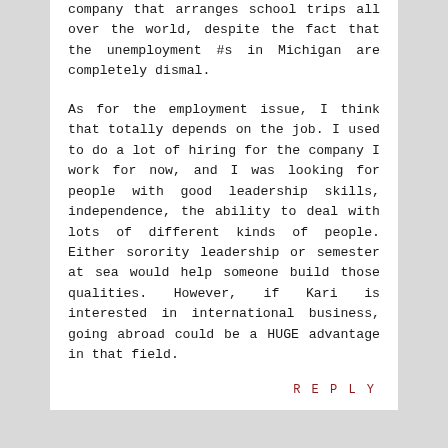company that arranges school trips all over the world, despite the fact that the unemployment #s in Michigan are completely dismal.
As for the employment issue, I think that totally depends on the job. I used to do a lot of hiring for the company I work for now, and I was looking for people with good leadership skills, independence, the ability to deal with lots of different kinds of people. Either sorority leadership or semester at sea would help someone build those qualities. However, if Kari is interested in international business, going abroad could be a HUGE advantage in that field.
REPLY